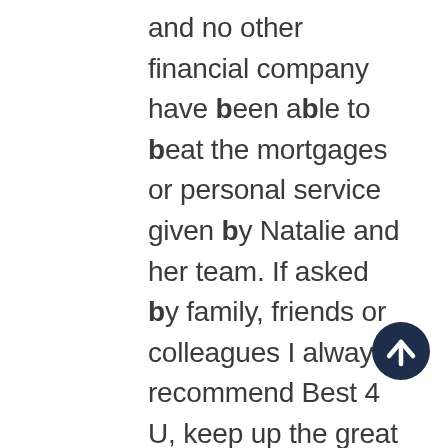and no other financial company have been able to beat the mortgages or personal service given by Natalie and her team. If asked by family, friends or colleagues I always recommend Best 4 U, keep up the great work and unbeatable service. Mr Keeber
[Figure (other): Dark navy circular button with upward-pointing arrow icon]